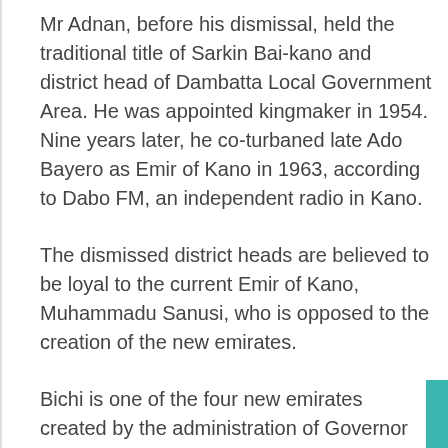Mr Adnan, before his dismissal, held the traditional title of Sarkin Bai-kano and district head of Dambatta Local Government Area. He was appointed kingmaker in 1954. Nine years later, he co-turbaned late Ado Bayero as Emir of Kano in 1963, according to Dabo FM, an independent radio in Kano.
The dismissed district heads are believed to be loyal to the current Emir of Kano, Muhammadu Sanusi, who is opposed to the creation of the new emirates.
Bichi is one of the four new emirates created by the administration of Governor Umar Ganduje to bring the total number of first-class emirs in Kano State to five.